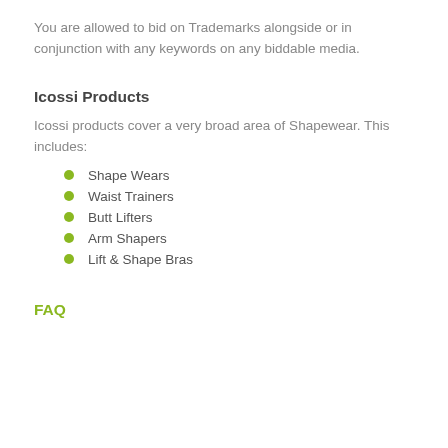You are allowed to bid on Trademarks alongside or in conjunction with any keywords on any biddable media.
Icossi Products
Icossi products cover a very broad area of Shapewear. This includes:
Shape Wears
Waist Trainers
Butt Lifters
Arm Shapers
Lift & Shape Bras
FAQ